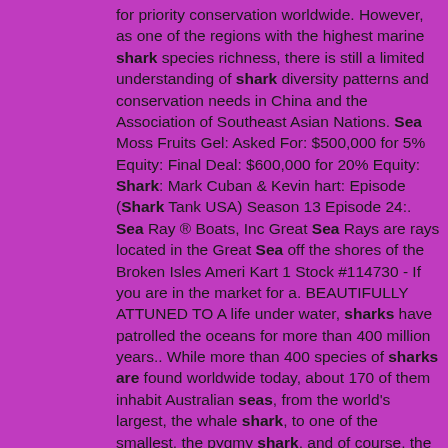for priority conservation worldwide. However, as one of the regions with the highest marine shark species richness, there is still a limited understanding of shark diversity patterns and conservation needs in China and the Association of Southeast Asian Nations. Sea Moss Fruits Gel: Asked For: $500,000 for 5% Equity: Final Deal: $600,000 for 20% Equity: Shark: Mark Cuban & Kevin hart: Episode (Shark Tank USA) Season 13 Episode 24:. Sea Ray ® Boats, Inc Great Sea Rays are rays located in the Great Sea off the shores of the Broken Isles Ameri Kart 1 Stock #114730 - If you are in the market for a. BEAUTIFULLY ATTUNED TO A life under water, sharks have patrolled the oceans for more than 400 million years.. While more than 400 species of sharks are found worldwide today, about 170 of them inhabit Australian seas, from the world's largest, the whale shark, to one of the smallest, the pygmy shark, and of course, the equally fascinating and fearsome great white. Shortfin Mako Shark. Shortfin mako sharks are summer visitors to British waters when the sea temperatures are nearer to their liking. This can be a very dangerous fish, less so than oceanic whitetips or great whites, and it is indeed number 10 on the list of top 10 most dangerous sharks worldwide. . A new study suggests some sharks can read Earth's field like a map and use it to navigate the open seas. The result adds sharks to the long list of animals—including